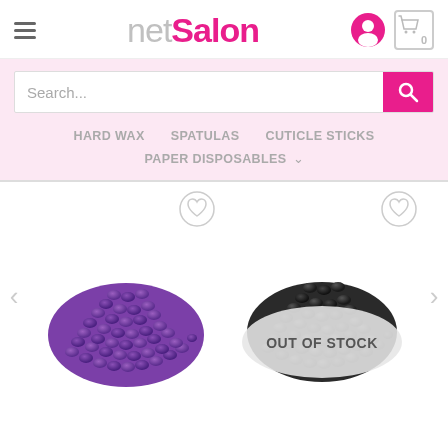[Figure (logo): netSalon logo with hamburger menu and cart/user icons]
[Figure (screenshot): Search bar with pink search button]
HARD WAX   SPATULAS   CUTICLE STICKS   PAPER DISPOSABLES
[Figure (photo): Purple hard wax beads pile with wishlist heart icon]
[Figure (photo): Black hard wax beads pile with OUT OF STOCK overlay and wishlist heart icon]